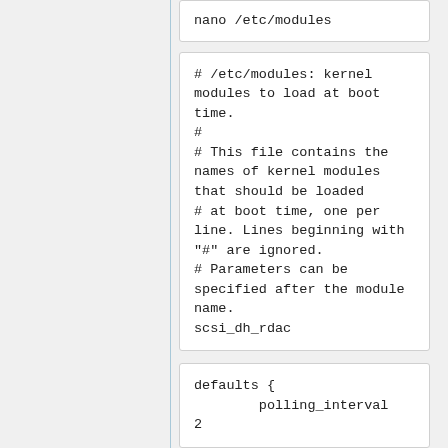nano /etc/modules
# /etc/modules: kernel modules to load at boot time.
#
# This file contains the names of kernel modules that should be loaded
# at boot time, one per line. Lines beginning with
"#" are ignored.
# Parameters can be specified after the module name.
scsi_dh_rdac
defaults {
        polling_interval 2